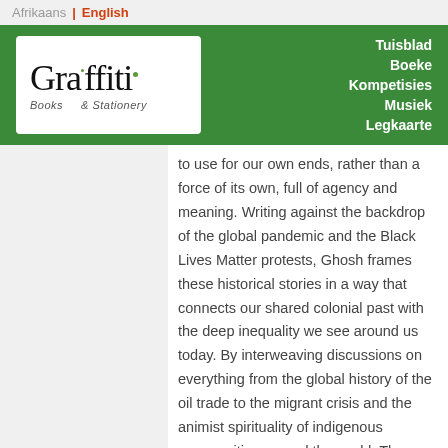Afrikaans | English
[Figure (logo): Graffiti Books & Stationery logo on green header background with navigation links: Tuisblad, Boeke, Kompetisies, Musiek, Legkaarte]
to use for our own ends, rather than a force of its own, full of agency and meaning. Writing against the backdrop of the global pandemic and the Black Lives Matter protests, Ghosh frames these historical stories in a way that connects our shared colonial past with the deep inequality we see around us today. By interweaving discussions on everything from the global history of the oil trade to the migrant crisis and the animist spirituality of indigenous communities around the world, The Nutmeg's Curse off sharp critique of contemporary society and